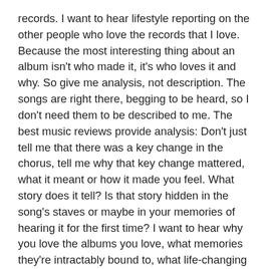records. I want to hear lifestyle reporting on the other people who love the records that I love. Because the most interesting thing about an album isn't who made it, it's who loves it and why. So give me analysis, not description. The songs are right there, begging to be heard, so I don't need them to be described to me. The best music reviews provide analysis: Don't just tell me that there was a key change in the chorus, tell me why that key change mattered, what it meant or how it made you feel. What story does it tell? Is that story hidden in the song's staves or maybe in your memories of hearing it for the first time? I want to hear why you love the albums you love, what memories they're intractably bound to, what life-changing actions they inspired. I want to know what you read between the lines, what unvoiced harmonies you've heard and can't forget, what the album communicates to you outside of its tempo and meter and key.
Great reviews make you understand why the author had an emotional response to an album and maybe even make you feel